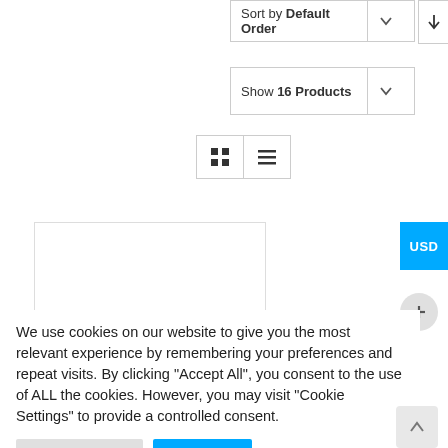Sort by Default Order
Show 16 Products
[Figure (screenshot): Grid and list view toggle buttons]
[Figure (screenshot): Partial product card area, USD currency button, and plus button]
We use cookies on our website to give you the most relevant experience by remembering your preferences and repeat visits. By clicking "Accept All", you consent to the use of ALL the cookies. However, you may visit "Cookie Settings" to provide a controlled consent.
Cookie Settings
Accept All